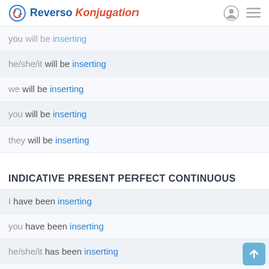Reverso Konjugation
you will be inserting
he/she/it will be inserting
we will be inserting
you will be inserting
they will be inserting
INDICATIVE PRESENT PERFECT CONTINUOUS
I have been inserting
you have been inserting
he/she/it has been inserting
we have been inserting